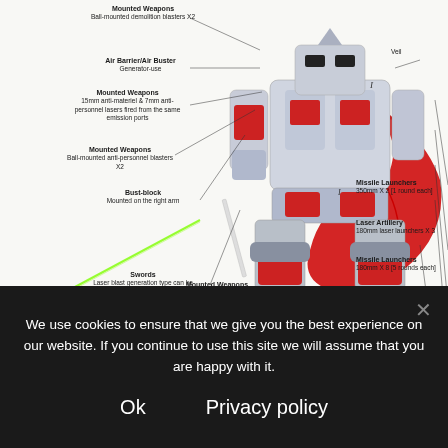[Figure (illustration): Annotated technical illustration of a mech/robot (Gundam-style) with labeled weapons and components including: Mounted Weapons (ball-mounted demolition blasters X2), Air Barrier/Air Buster (Generator-use), Mounted Weapons (15mm anti-materiel & 7mm anti-personnel lasers fired from the same emission ports), Mounted Weapons (Ball-mounted anti-personnel blasters X2), Bust-block (Mounted on the right arm), Swords (Laser blast generation type can be used with longsword), Veil, Missile Launchers (350mm X 2 [1 round each]), Laser Artillery (180mm laser launchers X 3), Missile Launchers (180mm X 8 [5 rounds each]), Laser Artillery (75mm laser launchers X 4), Nail (Metrohek chrome X1), Mounted Weapons (50mm anti-personnel S-mines [I-II type])]
We use cookies to ensure that we give you the best experience on our website. If you continue to use this site we will assume that you are happy with it.
Ok
Privacy policy